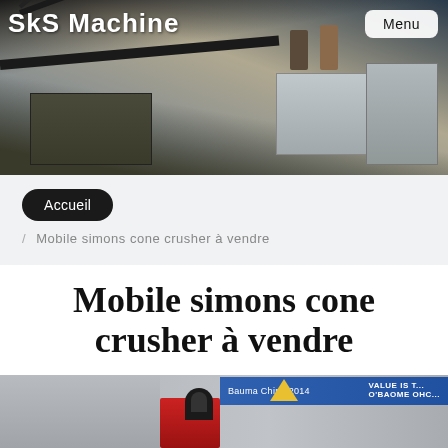SkS Machine
[Figure (photo): Industrial machinery / stone crusher equipment at a job site with workers visible, conveyor belts and large processing machines]
Menu
Accueil
/ Mobile simons cone crusher à vendre
Mobile simons cone crusher à vendre
[Figure (photo): Industrial cone crusher machinery at an exhibition, with a blue banner reading Bauma China 2014 in the background and a red machine with black pipe in the foreground]